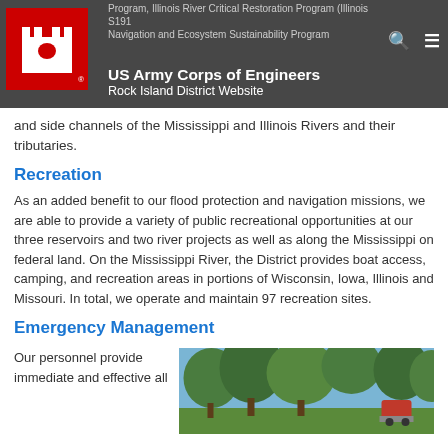US Army Corps of Engineers Rock Island District Website
and side channels of the Mississippi and Illinois Rivers and their tributaries.
Recreation
As an added benefit to our flood protection and navigation missions, we are able to provide a variety of public recreational opportunities at our three reservoirs and two river projects as well as along the Mississippi on federal land. On the Mississippi River, the District provides boat access, camping, and recreation areas in portions of Wisconsin, Iowa, Illinois and Missouri. In total, we operate and maintain 97 recreation sites.
Emergency Management
Our personnel provide immediate and effective all
[Figure (photo): Outdoor photo showing trees and what appears to be emergency or recreation equipment in a green wooded area]